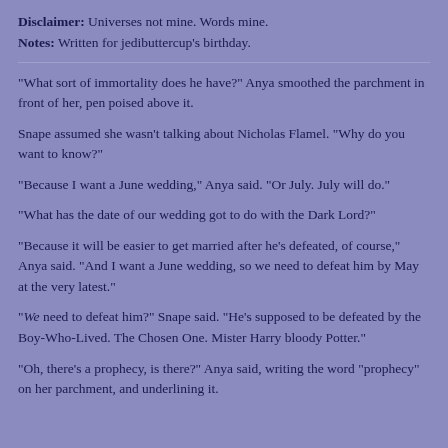Disclaimer: Universes not mine. Words mine.
Notes: Written for jedibuttercup's birthday.
"What sort of immortality does he have?" Anya smoothed the parchment in front of her, pen poised above it.
Snape assumed she wasn't talking about Nicholas Flamel. "Why do you want to know?"
"Because I want a June wedding," Anya said. "Or July. July will do."
"What has the date of our wedding got to do with the Dark Lord?"
"Because it will be easier to get married after he's defeated, of course," Anya said. "And I want a June wedding, so we need to defeat him by May at the very latest."
"We need to defeat him?" Snape said. "He's supposed to be defeated by the Boy-Who-Lived. The Chosen One. Mister Harry bloody Potter."
"Oh, there's a prophecy, is there?" Anya said, writing the word "prophecy" on her parchment, and underlining it.